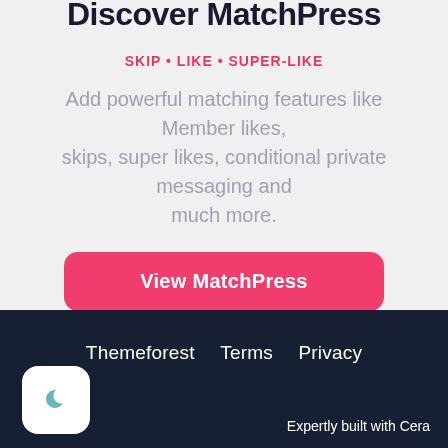Discover MatchPress
SKIP • LIKE • SUPER-LIKE
Add powerful matching features like Member likes, skips, super likes, conditional private messaging and much more.
View MatchPress
Themeforest   Terms   Privacy
Expertly built with Cera